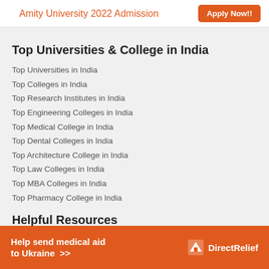Amity University 2022 Admission  Apply Now!!
Top Universities & College in India
Top Universities in India
Top Colleges in India
Top Research Institutes in India
Top Engineering Colleges in India
Top Medical College in India
Top Dental Colleges in India
Top Architecture College in India
Top Law Colleges in India
Top MBA Colleges in India
Top Pharmacy College in India
Helpful Resources
[Figure (other): Advertisement banner: Help send medical aid to Ukraine >> DirectRelief logo]